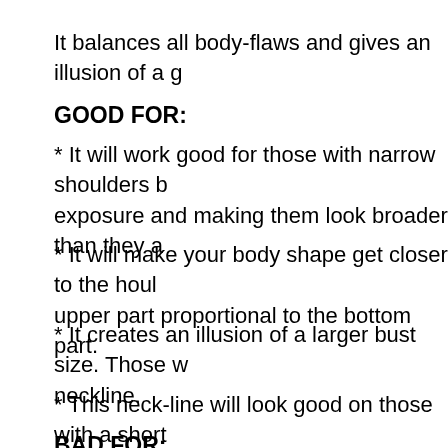It balances all body-flaws and gives an illusion of a g…
GOOD FOR:
* It will work good for those with narrow shoulders b… exposure and making them look broader than they a…
* It will make your body shape get closer to the hou… upper part proportional to the bottom part.
* It creates an illusion of a larger bust size. Those w… neckline.
* This neck-line will look good on those with a short…
BAD FOR: